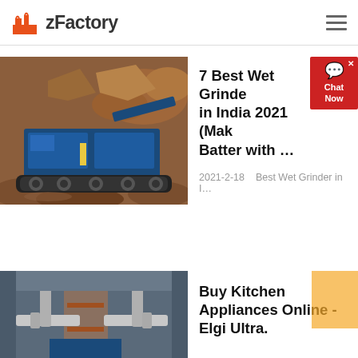zFactory
[Figure (photo): Industrial crusher/mining machine in rocky terrain with blue machinery]
7 Best Wet Grinder in India 2021 (Make Batter with ...
2021-2-18   Best Wet Grinder in I...
Read More
[Figure (photo): Industrial factory equipment with large pipes and machinery]
Buy Kitchen Appliances Online - Elgi Ultra.